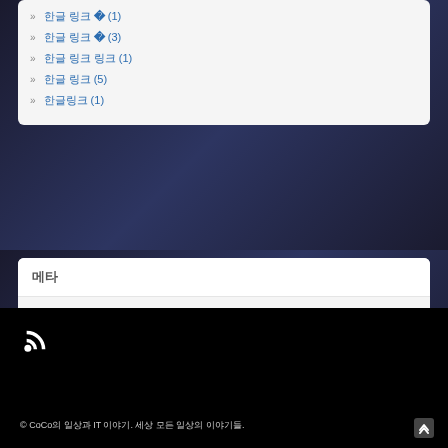한글 링크 (1)
한글 링크 (3)
한글 링크 (1)
한글 링크 (5)
한글 링크 (1)
메타
한글 링크
한글 링크 한글
한글 링크
WordPress.org
© CoCo의 일상과 IT 이야기. 세상 모든 일상의 이야기들.